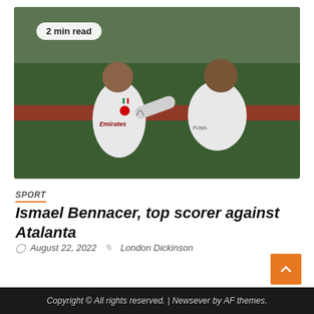[Figure (photo): Two AC Milan soccer players in white jerseys celebrating on the field. One player is screaming with joy while the other leans in grabbing him. Green grass and blurred stadium background visible. Badge showing '2 min read' overlaid on top-left of image.]
SPORT
Ismael Bennacer, top scorer against Atalanta
August 22, 2022   London Dickinson
Copyright © All rights reserved. | Newsever by AF themes.